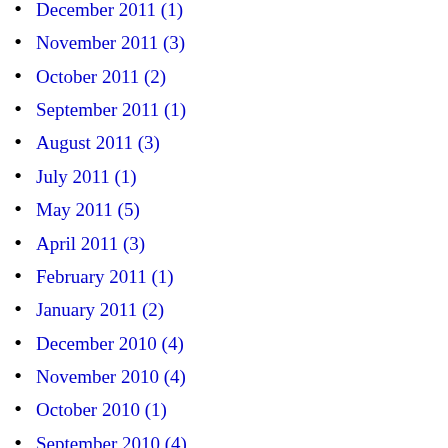December 2011 (1)
November 2011 (3)
October 2011 (2)
September 2011 (1)
August 2011 (3)
July 2011 (1)
May 2011 (5)
April 2011 (3)
February 2011 (1)
January 2011 (2)
December 2010 (4)
November 2010 (4)
October 2010 (1)
September 2010 (4)
August 2010 (2)
July 2010 (2)
June 2010 (6)
May 2010 (6)
April 2010 (4)
March 2010 (4)
February 2010 (2)
January 2010 (3)
December 2009 (6)
November 2009 (5)
October 2009 (7)
September 2009 (4)